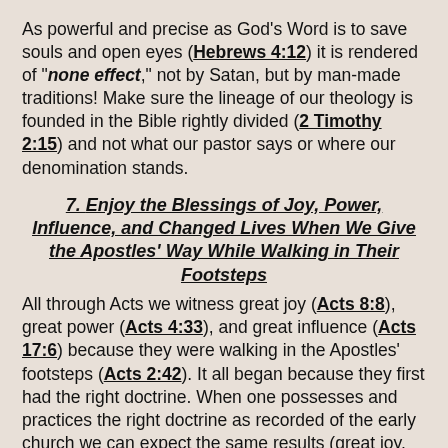As powerful and precise as God's Word is to save souls and open eyes (Hebrews 4:12) it is rendered of "none effect," not by Satan, but by man-made traditions! Make sure the lineage of our theology is founded in the Bible rightly divided (2 Timothy 2:15) and not what our pastor says or where our denomination stands.
7. Enjoy the Blessings of Joy, Power, Influence, and Changed Lives When We Give the Apostles' Way While Walking in Their Footsteps
All through Acts we witness great joy (Acts 8:8), great power (Acts 4:33), and great influence (Acts 17:6) because they were walking in the Apostles' footsteps (Acts 2:42). It all began because they first had the right doctrine. When one possesses and practices the right doctrine as recorded of the early church we can expect the same results (great joy, great power, and great influence).
So how about it? Are we getting Acts results? Has Satan substituted New Testament giving for devices and traditions that leave us wondering, "What happened? Why isn't my 'church' like the early church?" We have been presented